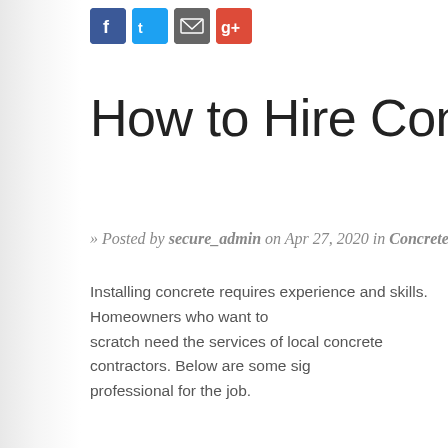[Figure (other): Social media share buttons: Facebook (blue), Twitter (blue), Email (gray), Google+ (red)]
How to Hire Concrete C
» Posted by secure_admin on Apr 27, 2020 in Concrete Contractors | 0
Installing concrete requires experience and skills. Homeowners who want to scratch need the services of local concrete contractors. Below are some sig professional for the job.